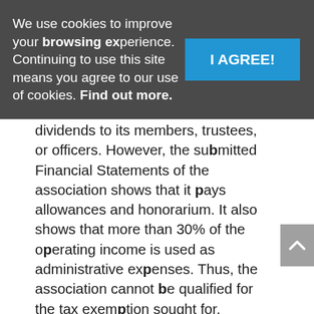We use cookies to improve your browsing experience. Continuing to use this site means you agree to our use of cookies. Find out more.
I AGREE!
dividends to its members, trustees, or officers. However, the submitted Financial Statements of the association shows that it pays allowances and honorarium. It also shows that more than 30% of the operating income is used as administrative expenses. Thus, the association cannot be qualified for the tax exemption sought for. Consequently, the BIR denied